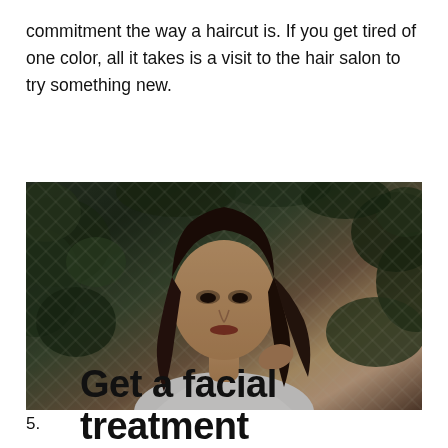commitment the way a haircut is. If you get tired of one color, all it takes is a visit to the hair salon to try something new.
[Figure (photo): A young woman with long dark brown hair wearing a white top, standing in front of a chain-link fence with green ivy/leaves, looking directly at the camera.]
5. Get a facial treatment